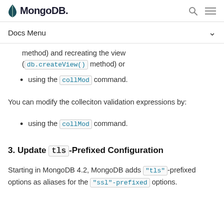MongoDB
Docs Menu
method) and recreating the view (db.createView() method) or
using the collMod command.
You can modify the colleciton validation expressions by:
using the collMod command.
3. Update tls-Prefixed Configuration
Starting in MongoDB 4.2, MongoDB adds "tls"-prefixed options as aliases for the "ssl"-prefixed options.